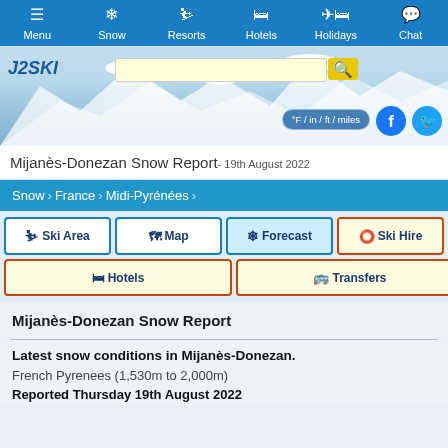Menu | Snow | Resorts | Hotels | Holidays | Chat
[Figure (screenshot): Website header banner with snowy mountain background, J2Ski logo, search bar, °F/in/ft/miles toggle button, and Facebook/Twitter social icons]
Mijanès-Donezan Snow Report- 19th August 2022
Snow > France > Midi-Pyrénées
Ski Area
Map
Forecast
Ski Hire
Hotels
Transfers
Mijanès-Donezan Snow Report
Latest snow conditions in Mijanès-Donezan.
French Pyrenees (1,530m to 2,000m)
Reported Thursday 19th August 2022